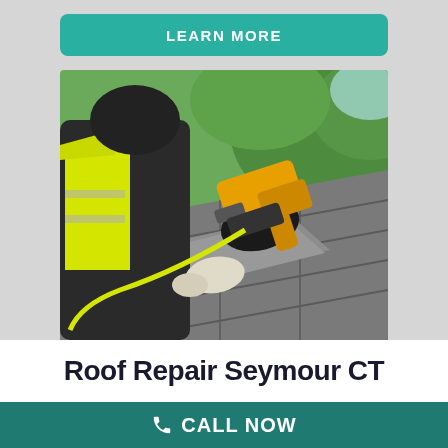LEARN MORE
[Figure (photo): A roofer wearing a high-visibility yellow vest and dark gloves using a yellow pneumatic nail gun to install grey shingles on a roof, with green trees in the background.]
Roof Repair Seymour CT
CALL NOW